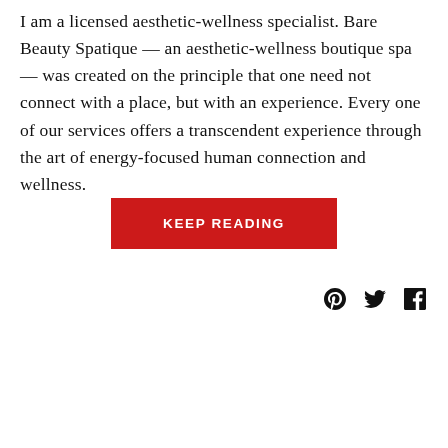I am a licensed aesthetic-wellness specialist. Bare Beauty Spatique — an aesthetic-wellness boutique spa — was created on the principle that one need not connect with a place, but with an experience. Every one of our services offers a transcendent experience through the art of energy-focused human connection and wellness.
KEEP READING
[Figure (other): Social media icons: Pinterest, Twitter, Facebook]